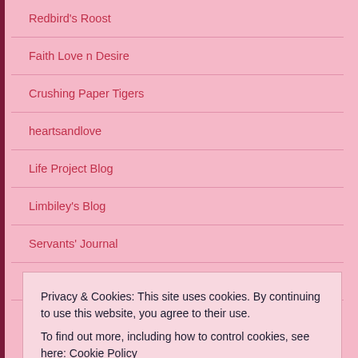Redbird's Roost
Faith Love n Desire
Crushing Paper Tigers
heartsandlove
Life Project Blog
Limbiley's Blog
Servants' Journal
THE RIVER WALK
ARCHIVES
Privacy & Cookies: This site uses cookies. By continuing to use this website, you agree to their use.
To find out more, including how to control cookies, see here: Cookie Policy
Close and accept